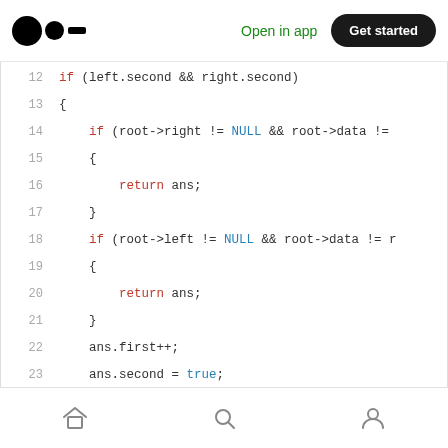Medium app header with logo, Open in app, Get started
[Figure (screenshot): Code snippet showing C++ code lines 12-27 with syntax highlighting. Keywords in red (if, return), identifiers in blue (NULL, true). Code shows tree traversal logic with left/right node checking.]
Bottom navigation bar with home, search, and profile icons